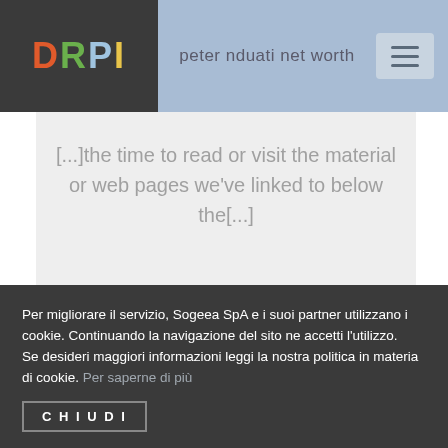DRPI | peter nduati net worth
[...]the time to read or visit the material or web pages we've linked to below the[...]
Per migliorare il servizio, Sogeea SpA e i suoi partner utilizzano i cookie. Continuando la navigazione del sito ne accetti l'utilizzo.
Se desideri maggiori informazioni leggi la nostra politica in materia di cookie. Per saperne di più
CHIUDI